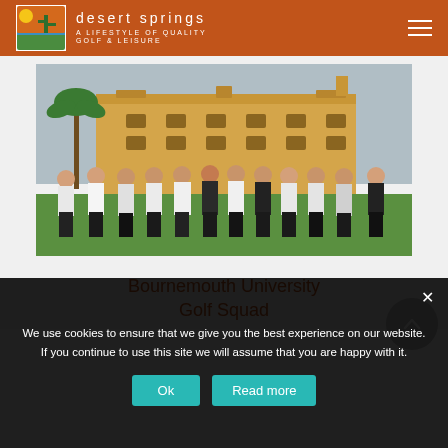desert springs — A LIFESTYLE OF QUALITY GOLF & LEISURE
[Figure (photo): Group photo of the Bournemouth University Golf Squad standing on a golf course lawn, with a large Mediterranean-style building in the background. About 12 young men in matching white and black golf team jackets and dark trousers.]
Bournemouth University Golf Squad
We use cookies to ensure that we give you the best experience on our website. If you continue to use this site we will assume that you are happy with it.